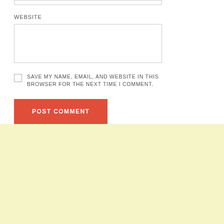WEBSITE
[Figure (other): Empty input field (text box) for website URL]
SAVE MY NAME, EMAIL, AND WEBSITE IN THIS BROWSER FOR THE NEXT TIME I COMMENT.
POST COMMENT
[Figure (other): Light yellow background section (advertisement or sidebar area)]